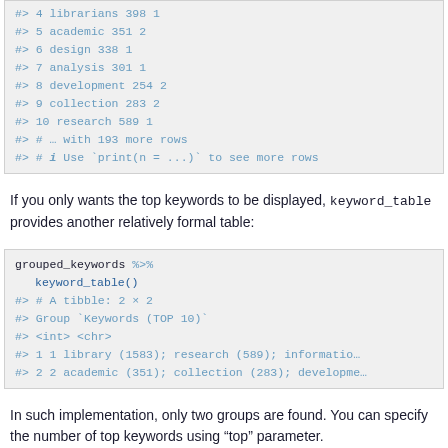[Figure (screenshot): R console output showing rows 4-10 of a data table with columns for keyword, count, and group number, followed by a note about 193 more rows and a hint to use print(n = ...) to see more rows.]
If you only wants the top keywords to be displayed, keyword_table provides another relatively formal table:
[Figure (screenshot): R code block showing grouped_keywords %>% keyword_table() and its output: A tibble: 2 x 2, with Group and Keywords (TOP 10) columns, showing two rows of grouped keyword data.]
In such implementation, only two groups are found. You can specify the number of top keywords using “top” parameter.